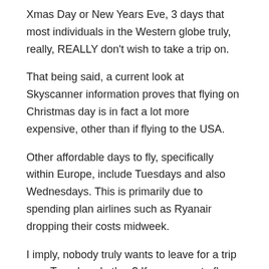Xmas Day or New Years Eve, 3 days that most individuals in the Western globe truly, really, REALLY don't wish to take a trip on.
That being said, a current look at Skyscanner information proves that flying on Christmas day is in fact a lot more expensive, other than if flying to the USA.
Other affordable days to fly, specifically within Europe, include Tuesdays and also Wednesdays. This is primarily due to spending plan airlines such as Ryanair dropping their costs midweek.
I imply, nobody truly wants to leave for a trip on a Tuesday, do they? If you agree to fly on these unpopular days, you are assured to locate more affordable trips.
On Skyscanner, there is an alternative to click WHOLE MONTH when choosing the dates you desire to fly. When you pick this option, the website will certainly inform you the least expensive